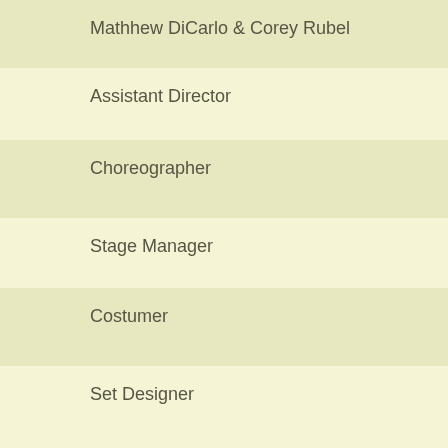Mathhew DiCarlo & Corey Rubel
Assistant Director
Choreographer
Stage Manager
Costumer
Set Designer